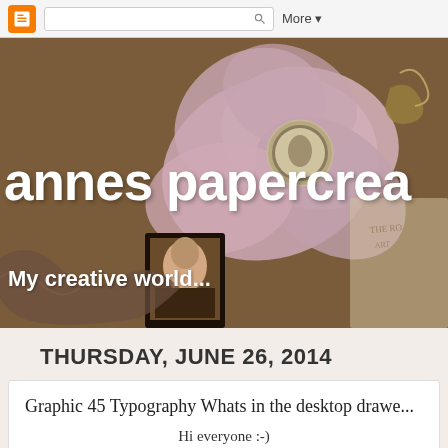[Figure (screenshot): Blogger navigation bar with orange Blogger icon, search box with magnifying glass icon, and 'More' dropdown button]
[Figure (photo): Blog header image showing a decorative fabric flower brooch with cameo on a vintage background, with blog title 'annes papercrea...' and subtitle 'My creative world...' overlaid in white rounded font]
THURSDAY, JUNE 26, 2014
Graphic 45 Typography Whats in the desktop drawe...
Hi everyone :-)
Here is whats in the G45 Typewriter desktop drawe... Lot of fussy cutting going on here and I used Claudine Helmuth to glue it on black cardstock and cut it all out one more tim... distressed with various distress inks from Tim Holt...